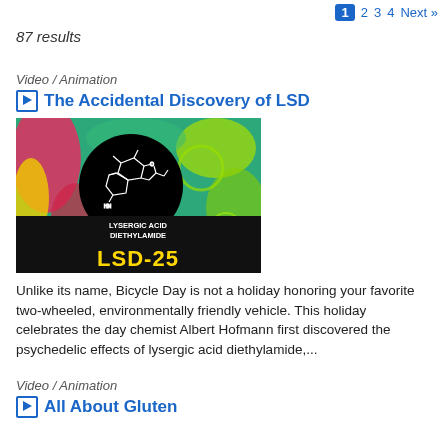1 2 3 4 Next »
87 results
Video / Animation
The Accidental Discovery of LSD
[Figure (photo): Colorful psychedelic background image with a chemical structure diagram in a black circle labeled LYSERGIC ACID DIETHYLAMIDE and yellow text LSD-25]
Unlike its name, Bicycle Day is not a holiday honoring your favorite two-wheeled, environmentally friendly vehicle. This holiday celebrates the day chemist Albert Hofmann first discovered the psychedelic effects of lysergic acid diethylamide,...
Video / Animation
All About Gluten